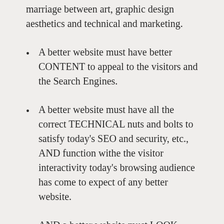marriage between art, graphic design aesthetics and technical and marketing.
A better website must have better CONTENT to appeal to the visitors and the Search Engines.
A better website must have all the correct TECHNICAL nuts and bolts to satisfy today's SEO and security, etc., AND function withe the visitor interactivity today's browsing audience has come to expect of any better website.
AND a better website must LOOK great to